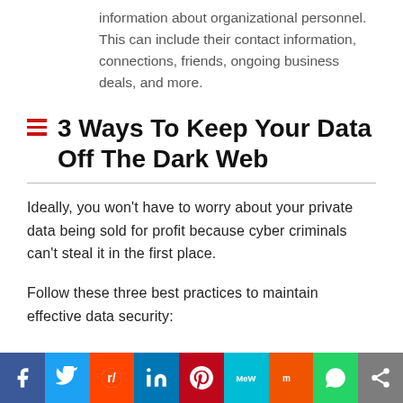information about organizational personnel. This can include their contact information, connections, friends, ongoing business deals, and more.
3 Ways To Keep Your Data Off The Dark Web
Ideally, you won't have to worry about your private data being sold for profit because cyber criminals can't steal it in the first place.
Follow these three best practices to maintain effective data security: